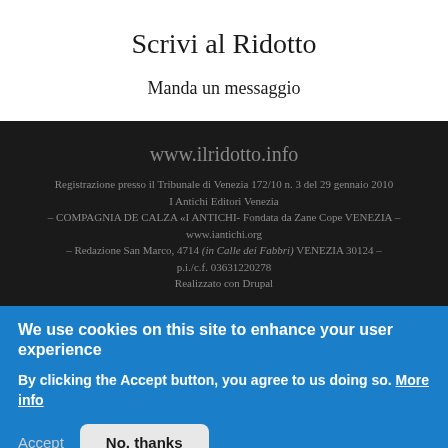Scrivi al Ridotto
Manda un messaggio
www.ilridotto.info
Registrazione presso il Tribunale di Venezia 172/10 n. 3 del 29 gennaio 2010
I Antichi Editori Venezia
– COMPAGNIA DE CALZA «I ANTICHI- Fondata da Zane Cope VENEZIA – www.iantichi.org
– Redazione San Marco, 4714 (in Calle dei Fabbri) VENEZIA 30124 – p.i./c.f. 03631220278
Realizzato con Drupal
We use cookies on this site to enhance your user experience
By clicking the Accept button, you agree to us doing so. More info
Accept
No, thanks